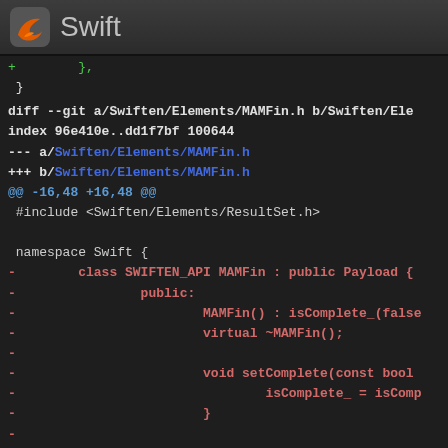Swift
+       },
 }
diff --git a/Swiften/Elements/MAMFin.h b/Swiften/Ele
index 96e410e..dd1f7bf 100644
--- a/Swiften/Elements/MAMFin.h
+++ b/Swiften/Elements/MAMFin.h
@@ -16,48 +16,48 @@
 #include <Swiften/Elements/ResultSet.h>

 namespace Swift {
-        class SWIFTEN_API MAMFin : public Payload {
-                public:
-                        MAMFin() : isComplete_(false
-                        virtual ~MAMFin();
-
-                        void setComplete(const bool
-                                isComplete_ = isComp
-                        }
-